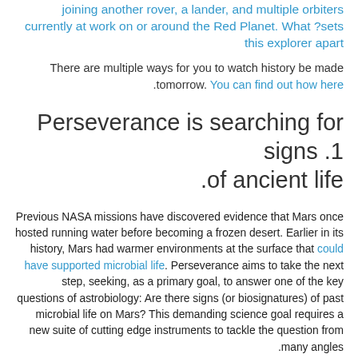joining another rover, a lander, and multiple orbiters currently at work on or around the Red Planet. What sets this explorer apart?
There are multiple ways for you to watch history be made tomorrow. You can find out how here.
1. Perseverance is searching for signs of ancient life.
Previous NASA missions have discovered evidence that Mars once hosted running water before becoming a frozen desert. Earlier in its history, Mars had warmer environments at the surface that could have supported microbial life. Perseverance aims to take the next step, seeking, as a primary goal, to answer one of the key questions of astrobiology: Are there signs (or biosignatures) of past microbial life on Mars? This demanding science goal requires a new suite of cutting edge instruments to tackle the question from many angles.
Two of them will play a particularly important role in the search for potential signs of past life: SHERLOC (short for Scanning Habitable